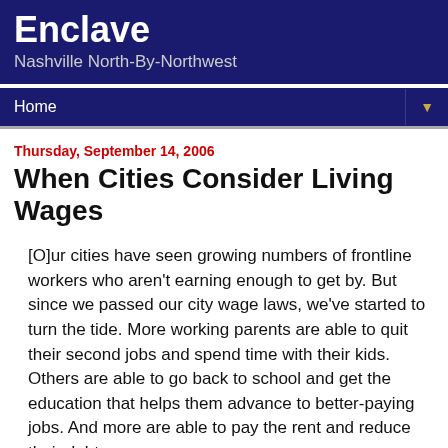Enclave
Nashville North-By-Northwest
Home
Thursday, September 14, 2006
When Cities Consider Living Wages
[O]ur cities have seen growing numbers of frontline workers who aren't earning enough to get by. But since we passed our city wage laws, we've started to turn the tide. More working parents are able to quit their second jobs and spend time with their kids. Others are able to go back to school and get the education that helps them advance to better-paying jobs. And more are able to pay the rent and reduce their debt.
Some have asked whether our cities are different ... But when we were considering our wage laws we heard the same warnings ... "If you raise the